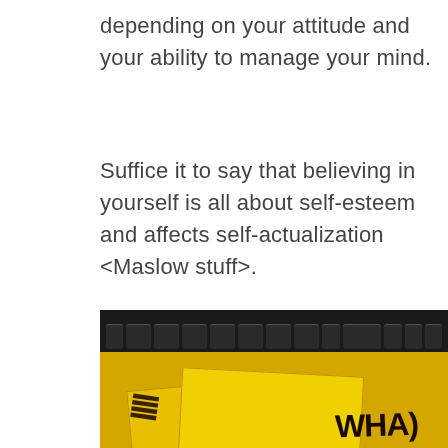depending on your attitude and your ability to manage your mind.
Suffice it to say that believing in yourself is all about self-esteem and affects self-actualization <Maslow stuff>.
[Figure (photo): A yellow notepad or paper with handwritten text reading 'SO WHA)' or similar, resting on a dark laptop keyboard. The photo is dimly lit with yellow tones.]